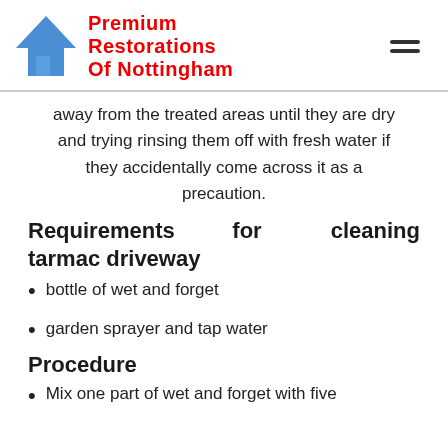Premium Restorations Of Nottingham
away from the treated areas until they are dry and trying rinsing them off with fresh water if they accidentally come across it as a precaution.
Requirements for cleaning tarmac driveway
bottle of wet and forget
garden sprayer and tap water
Procedure
Mix one part of wet and forget with five